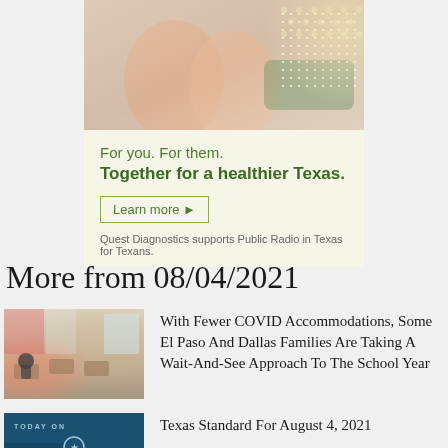[Figure (photo): Advertisement banner with photo of two girls eating ice cream, light yellow-green background]
For you. For them. Together for a healthier Texas.
Learn more ▶
Quest Diagnostics supports Public Radio in Texas for Texans.
More from 08/04/2021
[Figure (photo): Photo of a classroom with students sitting at desks]
With Fewer COVID Accommodations, Some El Paso And Dallas Families Are Taking A Wait-And-See Approach To The School Year
[Figure (logo): Texas Standard logo on teal/blue background with 'TODAY ON' text and star icon]
Texas Standard For August 4, 2021